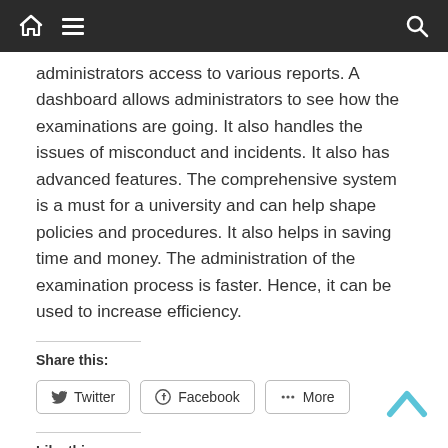Navigation bar with home, menu, and search icons
administrators access to various reports. A dashboard allows administrators to see how the examinations are going. It also handles the issues of misconduct and incidents. It also has advanced features. The comprehensive system is a must for a university and can help shape policies and procedures. It also helps in saving time and money. The administration of the examination process is faster. Hence, it can be used to increase efficiency.
Share this:
Twitter  Facebook  More
Like this: